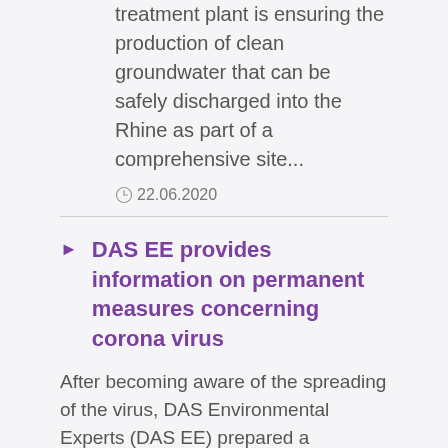treatment plant is ensuring the production of clean groundwater that can be safely discharged into the Rhine as part of a comprehensive site...
22.06.2020
DAS EE provides information on permanent measures concerning corona virus
After becoming aware of the spreading of the virus, DAS Environmental Experts (DAS EE) prepared a pandemic plan and appointed a pandemic emergency team. At the beginning of the 12th calendar week, all planned meetings with third parties were, as far as possible,...